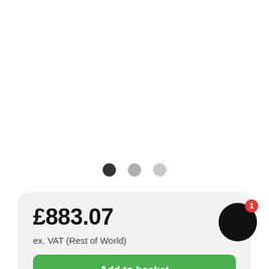[Figure (other): Carousel image area (white/blank upper section with three navigation dots below)]
£883.07
ex. VAT (Rest of World)
Add to basket